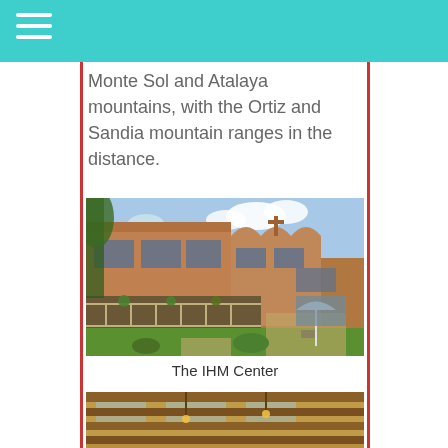Monte Sol and Atalaya mountains, with the Ortiz and Sandia mountain ranges in the distance.
[Figure (photo): Exterior photo of the IHM Center, a multi-story adobe-style building with a covered porch, railing, hanging plants, courtyard with green lawn, patio furniture, and an umbrella. Blue sky with clouds in background.]
The IHM Center
[Figure (photo): Interior photo showing wooden ceiling beams and rafters of the IHM Center, with warm golden lighting.]